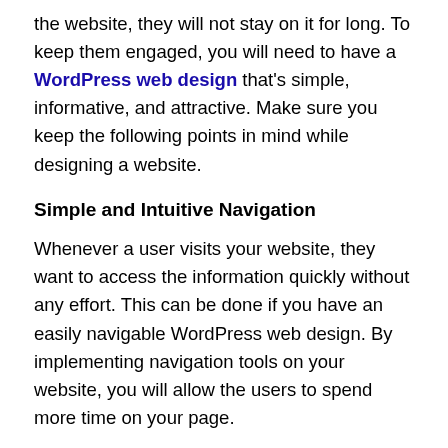the website, they will not stay on it for long. To keep them engaged, you will need to have a WordPress web design that's simple, informative, and attractive. Make sure you keep the following points in mind while designing a website.
Simple and Intuitive Navigation
Whenever a user visits your website, they want to access the information quickly without any effort. This can be done if you have an easily navigable WordPress web design. By implementing navigation tools on your website, you will allow the users to spend more time on your page.
Try to keep it simple and self-explanatory using broad headings. The headings can have a drop-down list with various subtopics. This way, they can quickly go to the page without wasting any time.